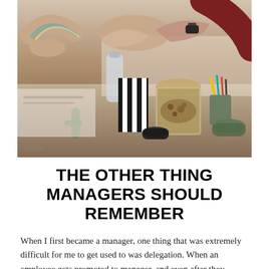[Figure (photo): Overhead photo of people fist-bumping over an office desk with various items including a striped bag, a mason jar with nuts, a water bottle, pencil cups, bowls, and papers on the table.]
THE OTHER THING MANAGERS SHOULD REMEMBER
When I first became a manager, one thing that was extremely difficult for me to get used to was delegation. When an employee gets promoted to manager, and even after they realize they now have a